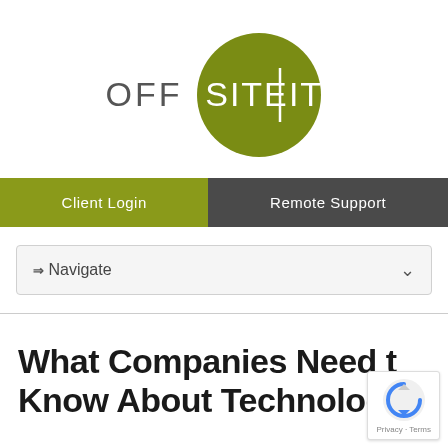[Figure (logo): OFF SITE IT logo with olive green circle containing 'SITE|IT' text and 'OFF' text to the left]
Client Login
Remote Support
⇒ Navigate
What Companies Need to Know About Technology